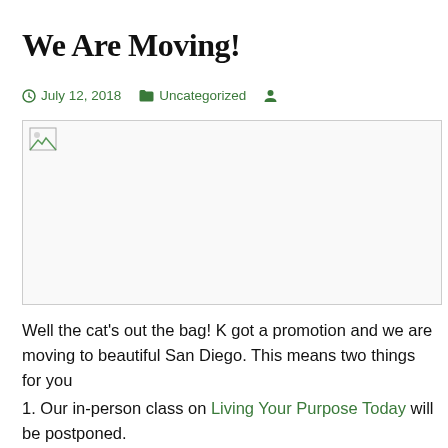We Are Moving!
🕐 July 12, 2018   📁 Uncategorized   👤
[Figure (photo): Broken/unloaded image placeholder with border]
Well the cat's out the bag! K got a promotion and we are moving to beautiful San Diego. This means two things for you
1. Our in-person class on Living Your Purpose Today will be postponed.